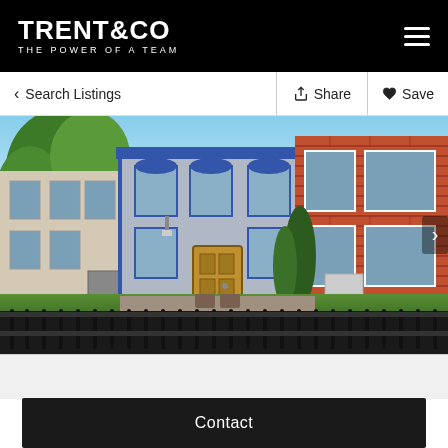TRENT&CO THE POWER OF A TEAM
< Search Listings    Share    Save
[Figure (photo): Exterior photo of a row of townhouses: a cream-colored building on the left, a blue/grey painted brick townhouse in the center with a wooden door and blue trim, and a red brick building on the right. There is a black iron fence in the foreground and green trees and lawn.]
Contact